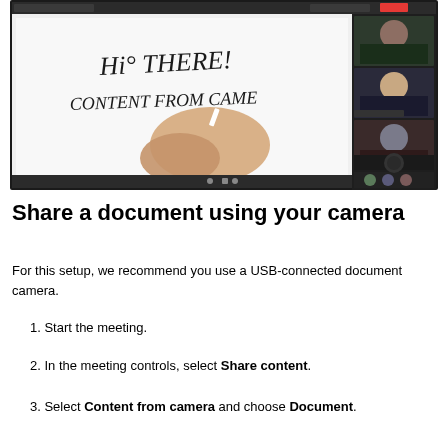[Figure (screenshot): Screenshot of a video conferencing application showing a whiteboard with 'Hi THERE!' and 'CONTENT FROM CAMERA' written on it, with a hand holding a marker. Participant thumbnails visible on the right side.]
Share a document using your camera
For this setup, we recommend you use a USB-connected document camera.
1. Start the meeting.
2. In the meeting controls, select Share content.
3. Select Content from camera and choose Document.